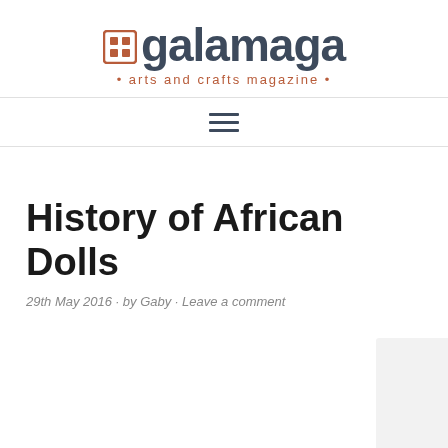galamaga · arts and crafts magazine ·
[Figure (other): Hamburger menu icon with three horizontal lines]
History of African Dolls
29th May 2016 · by Gaby · Leave a comment